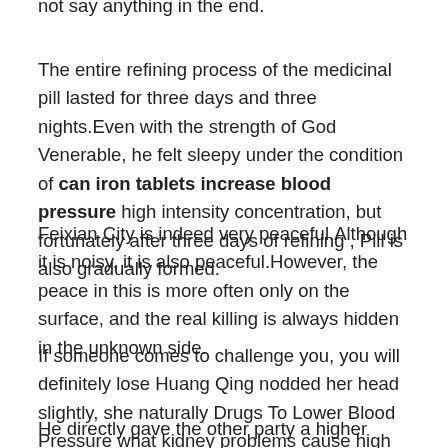not say anything in the end.
The entire refining process of the medicinal pill lasted for three days and three nights.Even with the strength of God Venerable, he felt sleepy under the condition of can iron tablets increase blood pressure high intensity concentration, but fortunately after three days of refining , Pill is also gradually formed.
Feixian City is indeed very peaceful.Although it is noisy, it is also peaceful.However, the peace in this is more often only on the surface, and the real killing is always hidden in the unknown side.
If someone comes to challenge you, you will definitely lose Huang Qing nodded her head slightly, she naturally Drugs To Lower Blood Pressure what kidney problems cause high blood pressure knew this.
He directly gave the other party a higher quality medicine